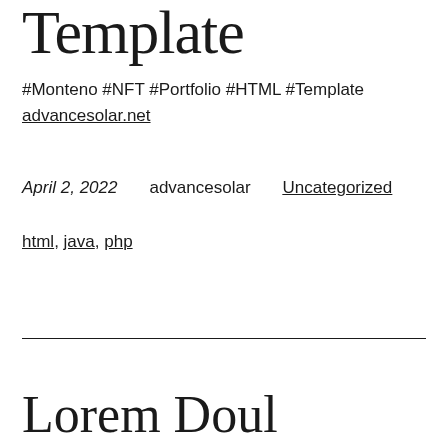Template
#Monteno #NFT #Portfolio #HTML #Template
advancesolar.net
April 2, 2022    advancesolar    Uncategorized
html, java, php
Lorem Doul...